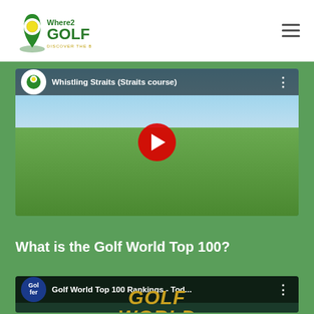[Figure (logo): Where2Golf logo - green map pin with yellow golf ball, text 'Where2 GOLF DISCOVER THE BEST']
[Figure (screenshot): YouTube video thumbnail for 'Whistling Straits (Straits course)' by Where2Golf channel, showing two golfers at a flag on a links-style course, with red play button overlay]
What is the Golf World Top 100?
[Figure (screenshot): YouTube video thumbnail for 'Golf World Top 100 Rankings - Tod...' by The Golfer channel, showing Golf World logo/text]